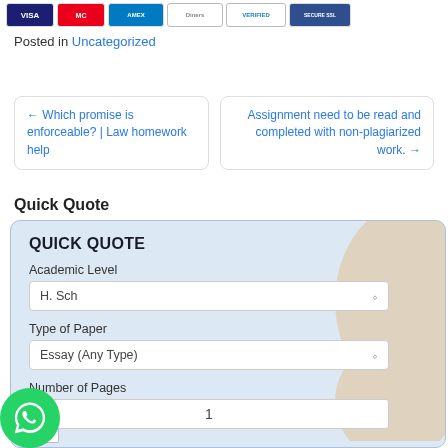[Figure (illustration): Payment card logos: Visa, Mastercard, American Express, Diners Club, Verified by Visa, SSL Secure 128-bit encryption]
Posted in Uncategorized
← Which promise is enforceable? | Law homework help
Assignment need to be read and completed with non-plagiarized work. →
Quick Quote
[Figure (screenshot): Quick Quote form widget with fields: Academic Level (H. Sch), Type of Paper (Essay (Any Type)), Number of Pages (1), and a + button. Decorative background pattern visible on the right side. WhatsApp chat button in bottom-left corner.]